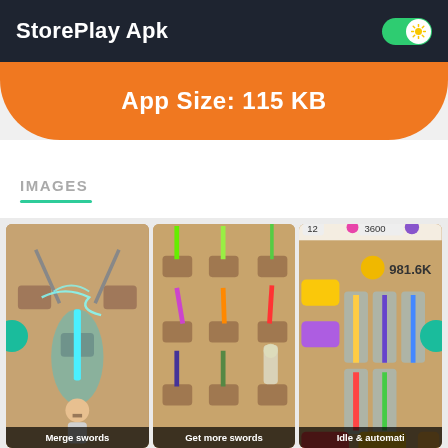StorePlay Apk
App Size: 115 KB
IMAGES
[Figure (screenshot): Screenshot of a sword merging game showing glowing blue crossed swords and a character holding a sword, with caption 'Merge swords']
[Figure (screenshot): Screenshot showing multiple colorful swords on pedestals including green, purple, orange and red swords, with caption 'Get more swords']
[Figure (screenshot): Screenshot showing idle game UI with swords, coins showing 981.6K, various colored glowing swords, with caption 'Idle & automati']